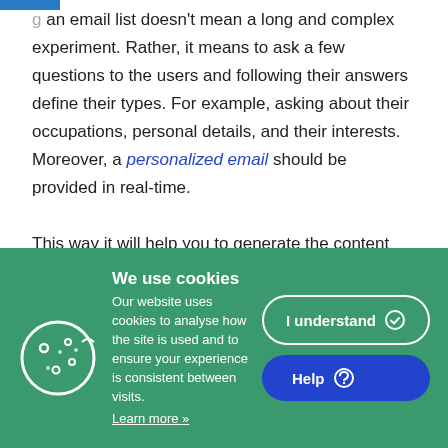g an email list doesn't mean a long and complex experiment. Rather, it means to ask a few questions to the users and following their answers define their types. For example, asking about their occupations, personal details, and their interests. Moreover, a personalized email should be provided in real-time.
This way it will help you to generate the content that you need to push to the right the subscribers and keep them
[Figure (screenshot): Cookie consent banner with green background, cookie icon, title 'We use cookies', descriptive text, 'I understand' and 'Help' buttons]